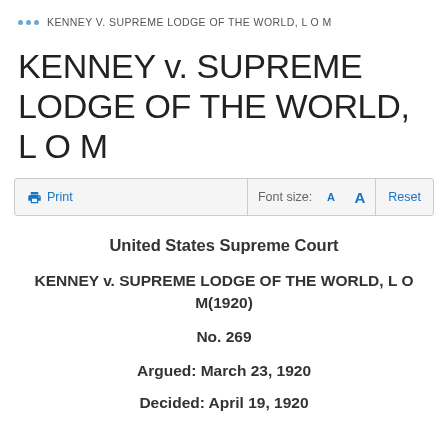KENNEY V. SUPREME LODGE OF THE WORLD, L O M
KENNEY v. SUPREME LODGE OF THE WORLD, L O M
Print  Font size:  A  A  Reset
United States Supreme Court
KENNEY v. SUPREME LODGE OF THE WORLD, L O M(1920)
No. 269
Argued: March 23, 1920
Decided: April 19, 1920